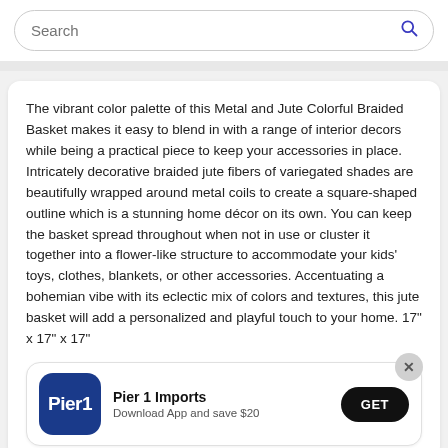Search
The vibrant color palette of this Metal and Jute Colorful Braided Basket makes it easy to blend in with a range of interior decors while being a practical piece to keep your accessories in place. Intricately decorative braided jute fibers of variegated shades are beautifully wrapped around metal coils to create a square-shaped outline which is a stunning home décor on its own. You can keep the basket spread throughout when not in use or cluster it together into a flower-like structure to accommodate your kids' toys, clothes, blankets, or other accessories. Accentuating a bohemian vibe with its eclectic mix of colors and textures, this jute basket will add a personalized and playful touch to your home. 17" x 17" x 17"
[Figure (logo): Pier 1 Imports app download banner with logo and GET button]
Pier 1 Imports
Download App and save $20